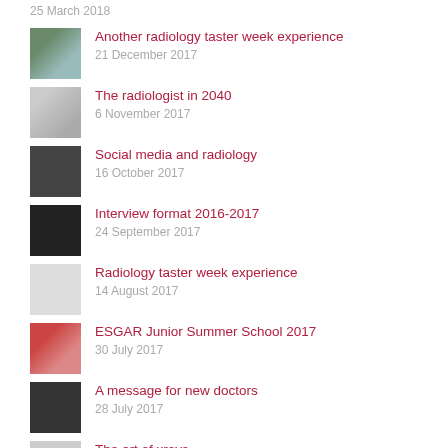25 March 2018
Another radiology taster week experience
21 December 2017
The radiologist in 2040
6 November 2017
Social media and radiology
16 October 2017
Interview format 2016-2017
24 September 2017
Radiology taster week experience
14 August 2017
ESGAR Junior Summer School 2017
30 July 2017
A message for new doctors
28 July 2017
The art of xrays
10 July 2017